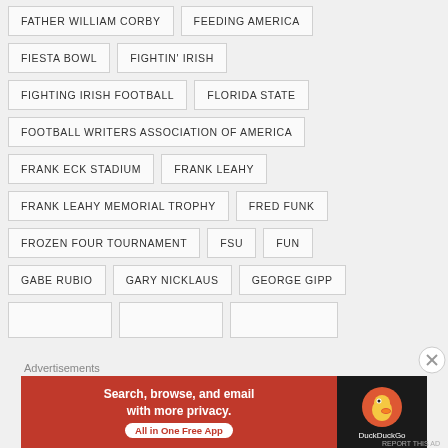FATHER WILLIAM CORBY
FEEDING AMERICA
FIESTA BOWL
FIGHTIN' IRISH
FIGHTING IRISH FOOTBALL
FLORIDA STATE
FOOTBALL WRITERS ASSOCIATION OF AMERICA
FRANK ECK STADIUM
FRANK LEAHY
FRANK LEAHY MEMORIAL TROPHY
FRED FUNK
FROZEN FOUR TOURNAMENT
FSU
FUN
GABE RUBIO
GARY NICKLAUS
GEORGE GIPP
[Figure (screenshot): DuckDuckGo advertisement banner: 'Search, browse, and email with more privacy. All in One Free App' with DuckDuckGo logo on dark background]